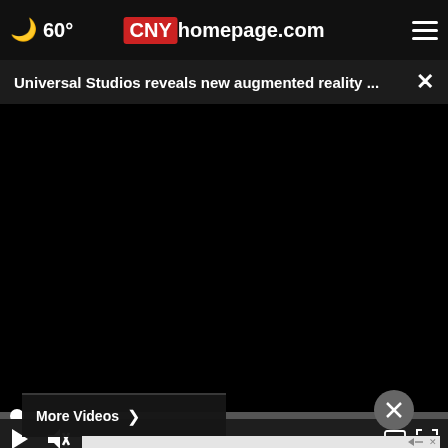60° CNYhomepage.com
Universal Studios reveals new augmented reality ...
[Figure (screenshot): Black video player area, paused/unloaded, showing a video player with progress bar at bottom left, play button, mute button, time display 00:00, caption and fullscreen icons. Below the player: More Videos button and close circle. An advertisement with an orange/yellow icon and a photo of people in a pool is shown at the bottom.]